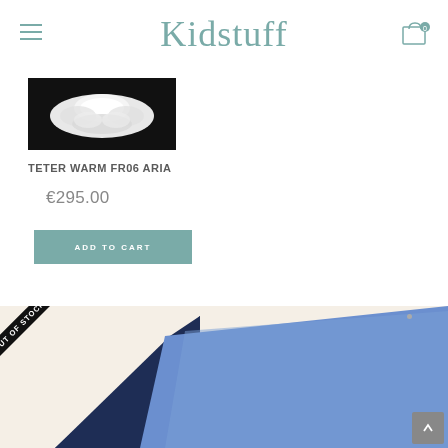Kidstuff
[Figure (photo): Product thumbnail of TETER WARM FR06 ARIA — white fluffy tutu/skirt on dark background]
TETER WARM FR06 ARIA
€295.00
ADD TO CART
[Figure (photo): Product photo partially shown at bottom — blue and navy fabric clothing item with 'OUT OF STOCK' ribbon overlay in bottom left corner]